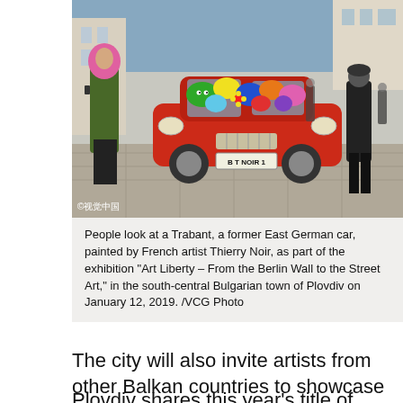[Figure (photo): People looking at a colorfully painted Trabant (former East German car) on a street in Plovdiv, Bulgaria. The car is painted with bright multicolored cartoon figures by French artist Thierry Noir. A woman in a green jacket with pink fur hood walks past the car. Watermark: © 视觉中国. License plate reads: B T NOIR 1.]
People look at a Trabant, a former East German car, painted by French artist Thierry Noir, as part of the exhibition "Art Liberty – From the Berlin Wall to the Street Art," in the south-central Bulgarian town of Plovdiv on January 12, 2019. /VCG Photo
The city will also invite artists from other Balkan countries to showcase the cultures of southeastern Europe.
Plovdiv shares this year's title of European